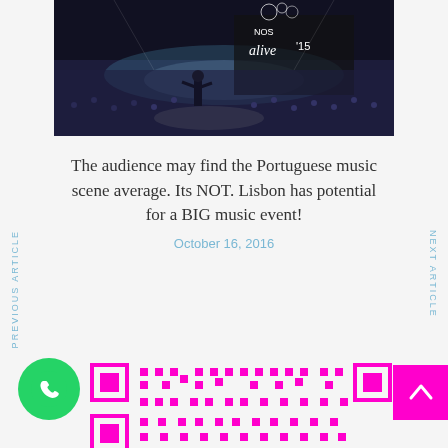[Figure (photo): Concert photo showing a performer on stage at NOS Alive '15 festival with a large crowd in background, stage signage visible]
The audience may find the Portuguese music scene average. Its NOT. Lisbon has potential for a BIG music event!
October 16, 2016
PREVIOUS ARTICLE
NEXT ARTICLE
[Figure (other): WhatsApp share button (green circle with phone icon) and a pink QR code, with a magenta back-to-top arrow button]